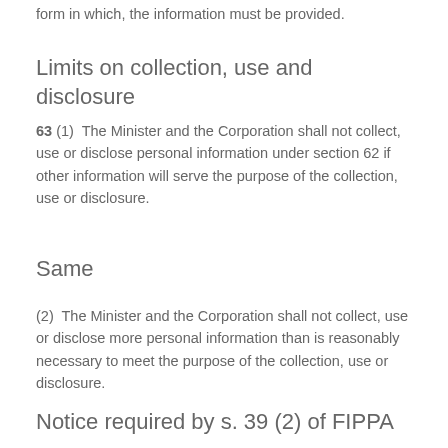form in which, the information must be provided.
Limits on collection, use and disclosure
63 (1)  The Minister and the Corporation shall not collect, use or disclose personal information under section 62 if other information will serve the purpose of the collection, use or disclosure.
Same
(2)  The Minister and the Corporation shall not collect, use or disclose more personal information than is reasonably necessary to meet the purpose of the collection, use or disclosure.
Notice required by s. 39 (2) of FIPPA